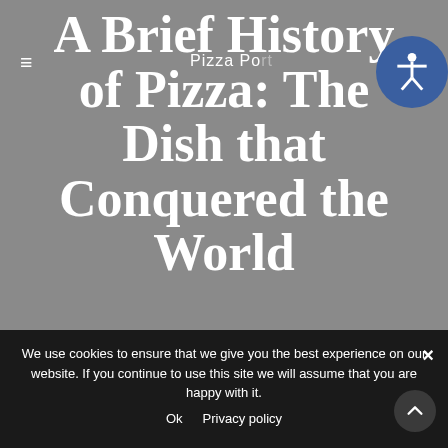A Brief History of Pizza: The Dish that Conquered the World
Pizza Po...
We use cookies to ensure that we give you the best experience on our website. If you continue to use this site we will assume that you are happy with it.
Ok    Privacy policy
PIZZA PLACE PIZZA PORT PIZZA PORT MR. PIZZA PORT MORRO BAY PIZZA PORT REVIEWS BY A BUIN